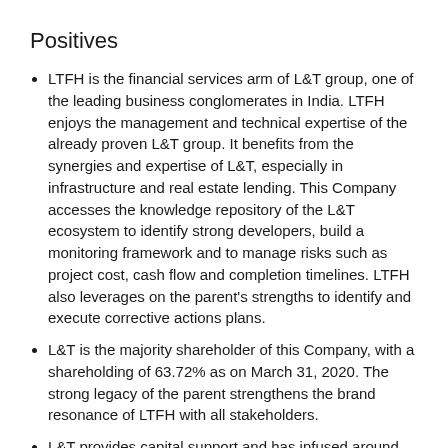Positives
LTFH is the financial services arm of L&T group, one of the leading business conglomerates in India. LTFH enjoys the management and technical expertise of the already proven L&T group. It benefits from the synergies and expertise of L&T, especially in infrastructure and real estate lending. This Company accesses the knowledge repository of the L&T ecosystem to identify strong developers, build a monitoring framework and to manage risks such as project cost, cash flow and completion timelines. LTFH also leverages on the parent's strengths to identify and execute corrective actions plans.
L&T is the majority shareholder of this Company, with a shareholding of 63.72% as on March 31, 2020. The strong legacy of the parent strengthens the brand resonance of LTFH with all stakeholders.
L&T provides capital support and has infused around ₹ 3,779 Cr till FY20 (including ₹ 2,000 Cr in FY18)